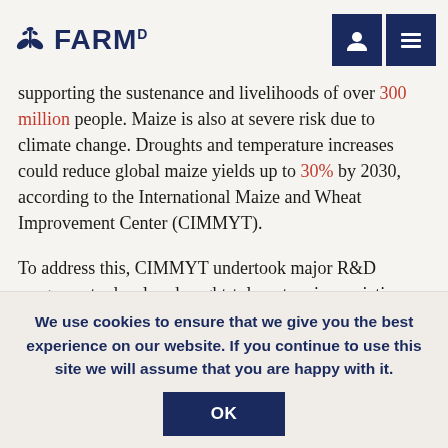FARM D
supporting the sustenance and livelihoods of over 300 million people. Maize is also at severe risk due to climate change. Droughts and temperature increases could reduce global maize yields up to 30% by 2030, according to the International Maize and Wheat Improvement Center (CIMMYT).
To address this, CIMMYT undertook major R&D programs to develop drought-tolerant maize varieties with support from the Bill & Melinda Gates Foundation. The Drought Tolerant Maize for Africa program successfully developed hundreds of new varieties that boost farmers' yields and incomes
We use cookies to ensure that we give you the best experience on our website. If you continue to use this site we will assume that you are happy with it.